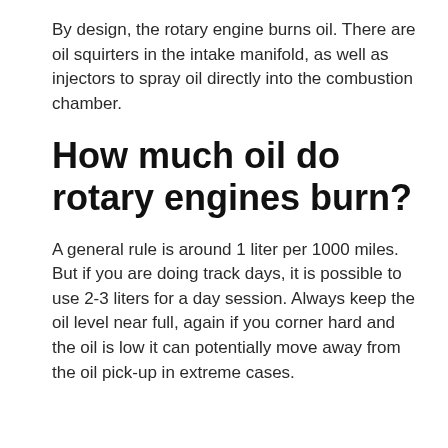By design, the rotary engine burns oil. There are oil squirters in the intake manifold, as well as injectors to spray oil directly into the combustion chamber.
How much oil do rotary engines burn?
A general rule is around 1 liter per 1000 miles. But if you are doing track days, it is possible to use 2-3 liters for a day session. Always keep the oil level near full, again if you corner hard and the oil is low it can potentially move away from the oil pick-up in extreme cases.